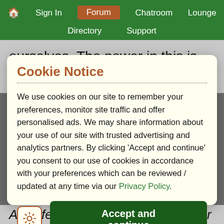Home | Sign In | Forum | Chatroom | Lounge | Directory | Support
ourselves. The power in this is that we build ourselves, no one is telling us what to do or who to be, but as her husband there are ways to
Cookie Notice
We use cookies on our site to remember your preferences, monitor site traffic and offer personalised ads. We may share information about your use of our site with trusted advertising and analytics partners. By clicking 'Accept and continue' you consent to our use of cookies in accordance with your preferences which can be reviewed / updated at any time via our Privacy Policy.
Accept and continue
And life is just one experience after another after